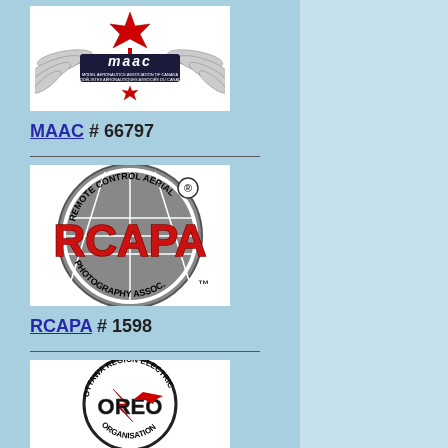[Figure (logo): MAAC (Model Aeronautics Association of Canada) logo with maple leaf and wings]
MAAC # 66797
[Figure (logo): RCAPA (Remote Control Aerial Photography Association) logo with globe graphic and red text]
RCAPA # 1598
[Figure (logo): OREO (Ottawa Region Electric Organisation) logo with lightning bolt and airplane graphic]